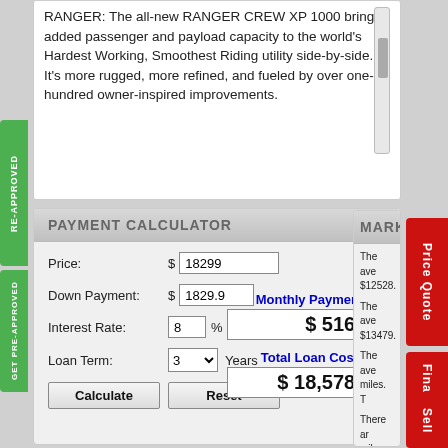RANGER: The all-new RANGER CREW XP 1000 brings added passenger and payload capacity to the world's Hardest Working, Smoothest Riding utility side-by-side. It's more rugged, more refined, and fueled by over one-hundred owner-inspired improvements.
PAYMENT CALCULATOR
| Field | Value |
| --- | --- |
| Price: | $ 18299 |
| Down Payment: | $ 1829.9 |
| Interest Rate: | 8 % |
| Loan Term: | 3 Years |
Monthly Payment: $ 516.08
Total Loan Cost: $ 18,578.88
MARKE
The ave $12528.
The ave $13479.
The ave miles. T
There ar miles of
If you lo sale it w
If you lo sale it w